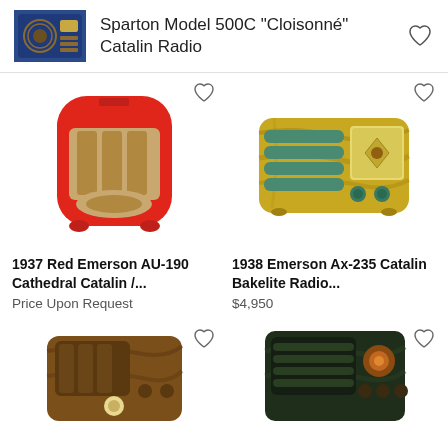[Figure (photo): Thumbnail photo of Sparton Model 500C Cloisonné Catalin Radio - blue radio with circular grille]
Sparton Model 500C "Cloisonné" Catalin Radio
[Figure (photo): Heart/favorite icon outline]
[Figure (photo): 1937 Red Emerson AU-190 Cathedral Catalin radio - bright red arched case with grille]
[Figure (photo): Heart/favorite icon outline for first card]
1937 Red Emerson AU-190 Cathedral Catalin /...
Price Upon Request
[Figure (photo): 1938 Emerson Ax-235 Catalin Bakelite Radio - yellow-green marbled rectangular radio]
[Figure (photo): Heart/favorite icon outline for second card]
1938 Emerson Ax-235 Catalin Bakelite Radio...
$4,950
[Figure (photo): Partial view of brown Catalin radio at bottom left]
[Figure (photo): Heart/favorite icon outline for bottom left card]
[Figure (photo): Partial view of dark green/black Catalin radio at bottom right]
[Figure (photo): Heart/favorite icon outline for bottom right card]